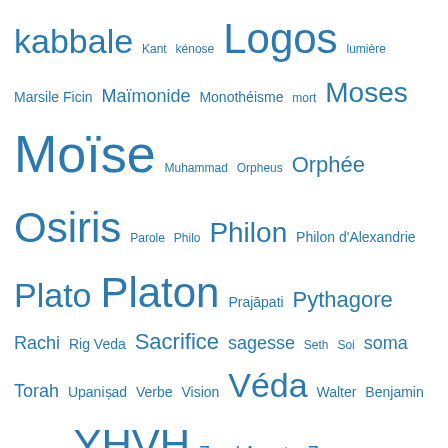kabbale Kant kénose Logos lumière Marsile Ficin Maïmonide Monothéisme mort Moses Moïse Muhammad Orpheus Orphée Osiris Parole Philo Philon Philon d'Alexandrie Plato Platon Prajāpati Pythagore Rachi Rig Veda Sacrifice sagesse Seth Soi soma Torah Upaniṣad Verbe Vision Véda Walter Benjamin Wisdom YHVH Zend Avesta Zeus Zohar Zoroastre Être âme
Blogoliste
"La fin du monde commun". Le nouveau livre de Philippe Quéau La religion de la dissociation mondiale ne cesse de progresser. Il faut faire l'analyse de la décomposition de l'esprit moderne, pour comprendre la fin programmée de la « raison », de la « liberté » et du « commun »,